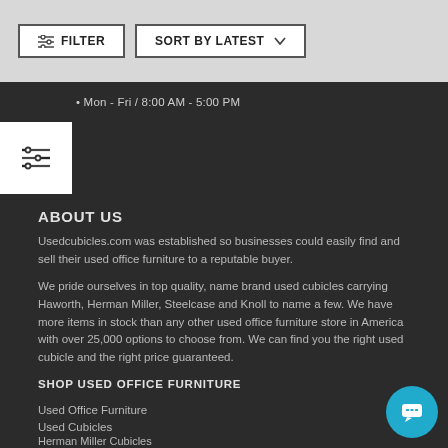FILTER  SORT BY LATEST
Mon - Fri / 8:00 AM - 5:00 PM
ABOUT US
Usedcubicles.com was established so businesses could easily find and sell their used office furniture to a reputable buyer.
We pride ourselves in top quality, name brand used cubicles carrying Haworth, Herman Miller, Steelcase and Knoll to name a few. We have more items in stock than any other used office furniture store in America with over 25,000 options to choose from. We can find you the right used cubicle and the right price guaranteed.
SHOP USED OFFICE FURNITURE
Used Office Furniture
Used Cubicles
Herman Miller Cubicles
Knoll Cubicles